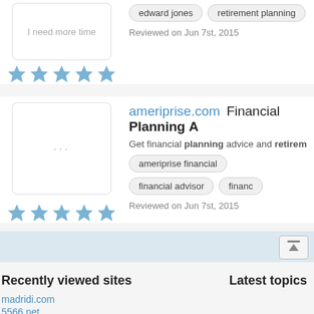[Figure (screenshot): Website review card showing thumbnail with text 'I need more time', five blue stars rating, tags 'edward jones' and 'retirement planning', reviewed on Jun 7st, 2015]
[Figure (screenshot): Website review card for ameriprise.com showing Financial Planning, thumbnail with dots, five blue stars rating, tags 'ameriprise financial', 'financial advisor', 'financ...', reviewed on Jun 7st, 2015]
Recently viewed sites
madridi.com
5566.net
Latest topics